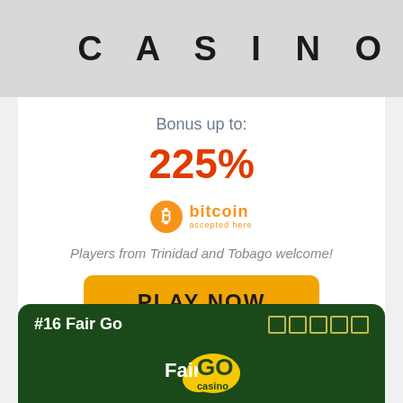[Figure (logo): Casino logo text 'CASINO' in large spaced bold letters on gray background]
Bonus up to:
225%
[Figure (logo): Bitcoin accepted here orange badge logo]
Players from Trinidad and Tobago welcome!
PLAY NOW
#16 Fair Go
[Figure (logo): Fair Go Casino logo on dark green background]